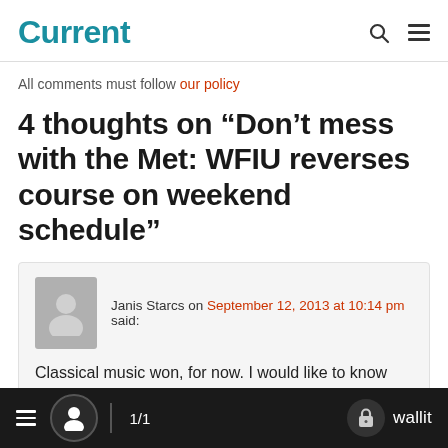Current
All comments must follow our policy
4 thoughts on “Don’t mess with the Met: WFIU reverses course on weekend schedule”
Janis Starcs on September 12, 2013 at 10:14 pm said:
Classical music won, for now. I would like to know what advice the NPR bureaucracy is giving local stations regarding cultural programming. If classical music no longer matters at NPR, I doubt that I could support any taxpayer money for the
1/1  wallit